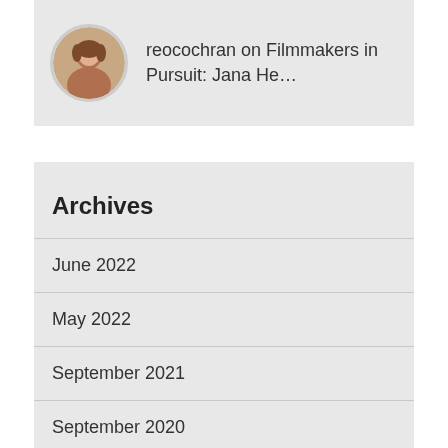[Figure (photo): Circular avatar photo of a woman with brown hair]
reocochran on Filmmakers in Pursuit: Jana He…
Archives
June 2022
May 2022
September 2021
September 2020
July 2020